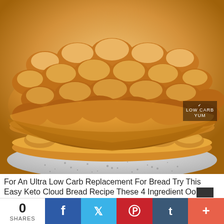[Figure (photo): Close-up photo of stacked keto cloud bread pieces with a bumpy golden-brown top surface, resting on a speckled plate. Bottom right corner has a watermark reading 'LOW CARB YUM'.]
For An Ultra Low Carb Replacement For Bread Try This Easy Keto Cloud Bread Recipe These 4 Ingredient Oo...
0 SHARES